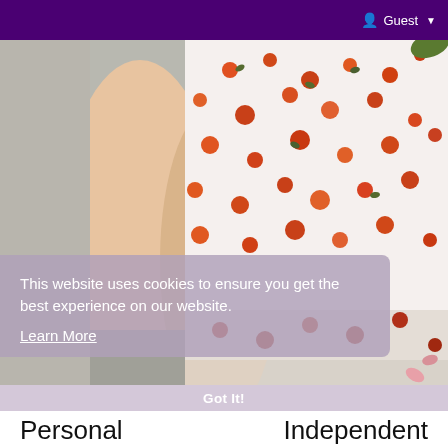Guest
[Figure (photo): Close-up photo of a person's legs wearing a white floral dress with orange/red flower pattern, seated on stone steps outdoors.]
This website uses cookies to ensure you get the best experience on our website.
Learn More
Got It!
Personal    Independent